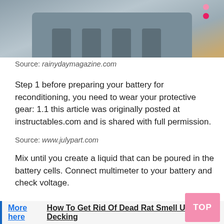[Figure (photo): Photo of a battery charger device (gray/blue) with multiple slots, viewed from above at an angle, on a wooden surface.]
Source: rainydaymagazine.com
Step 1 before preparing your battery for reconditioning, you need to wear your protective gear: 1.1 this article was originally posted at instructables.com and is shared with full permission.
Source: www.julypart.com
Mix until you create a liquid that can be poured in the battery cells. Connect multimeter to your battery and check voltage.
More here How To Get Rid Of Dead Rat Smell Under Decking